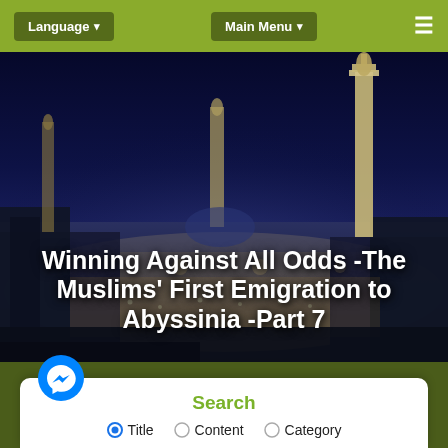Language ▾    Main Menu ▾    ≡
[Figure (photo): Aerial night view of a large mosque (likely Masjid al-Nabawi in Medina) with illuminated minarets and bustling courtyard]
Winning Against All Odds -The Muslims' First Emigration to Abyssinia -Part 7
Search
Title   Content   Category